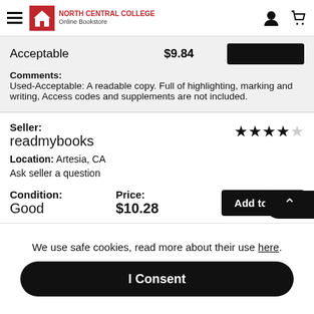North Central College Online Bookstore
Acceptable  $9.84
Comments: Used-Acceptable: A readable copy. Full of highlighting, marking and writing, Access codes and supplements are not included.
Seller: readmybooks  Location: Artesia, CA  Ask seller a question
Condition: Good  Price: $10.28
Comments: IMP: Used Good- Used items do not include CD-ROM, ACCESS CODE
We use safe cookies, read more about their use here.
I Consent